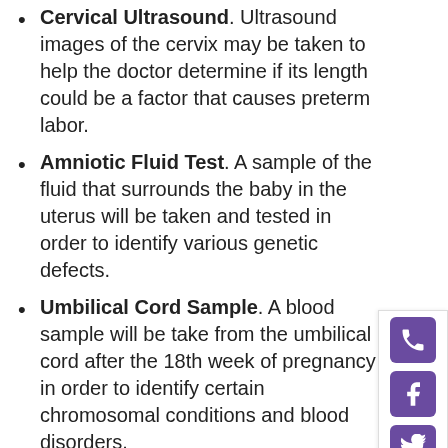Cervical Ultrasound. Ultrasound images of the cervix may be taken to help the doctor determine if its length could be a factor that causes preterm labor.
Amniotic Fluid Test. A sample of the fluid that surrounds the baby in the uterus will be taken and tested in order to identify various genetic defects.
Umbilical Cord Sample. A blood sample will be take from the umbilical cord after the 18th week of pregnancy in order to identify certain chromosomal conditions and blood disorders.
Fetal Fibronectin Test. Vaginal swabs will be tested for fetal fibronectin, which could be an indication of preterm labor.
SCHEDULE A